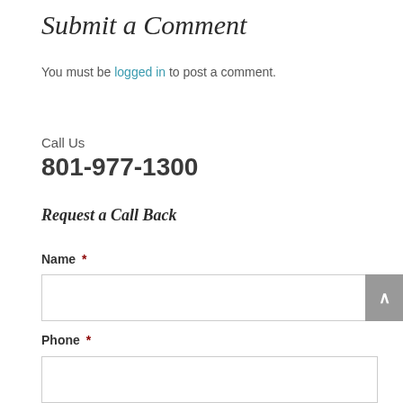Submit a Comment
You must be logged in to post a comment.
Call Us
801-977-1300
Request a Call Back
Name *
Phone *